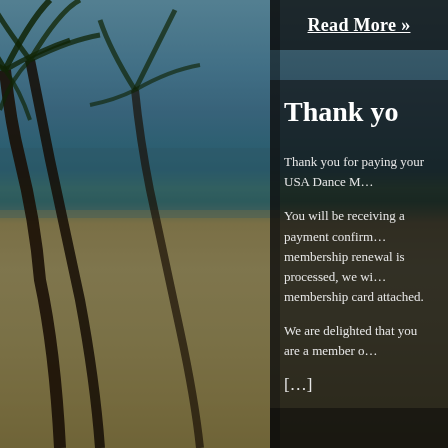[Figure (photo): Beach scene with palm trees, blue ocean water, sandy beach in the background on the left side of the page]
Read More »
Thank yo…
Thank you for paying your USA Dance M…
You will be receiving a payment confirm… membership renewal is processed, we wi… membership card attached.
We are delighted that you are a member o…
[…]
Read More »